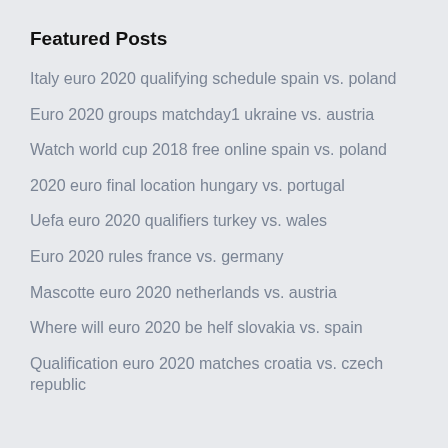Featured Posts
Italy euro 2020 qualifying schedule spain vs. poland
Euro 2020 groups matchday1 ukraine vs. austria
Watch world cup 2018 free online spain vs. poland
2020 euro final location hungary vs. portugal
Uefa euro 2020 qualifiers turkey vs. wales
Euro 2020 rules france vs. germany
Mascotte euro 2020 netherlands vs. austria
Where will euro 2020 be helf slovakia vs. spain
Qualification euro 2020 matches croatia vs. czech republic